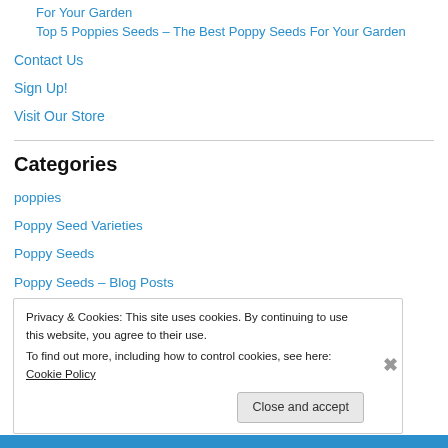For Your Garden
Top 5 Poppies Seeds – The Best Poppy Seeds For Your Garden
Contact Us
Sign Up!
Visit Our Store
Categories
poppies
Poppy Seed Varieties
Poppy Seeds
Poppy Seeds – Blog Posts
Privacy & Cookies: This site uses cookies. By continuing to use this website, you agree to their use.
To find out more, including how to control cookies, see here: Cookie Policy
Close and accept